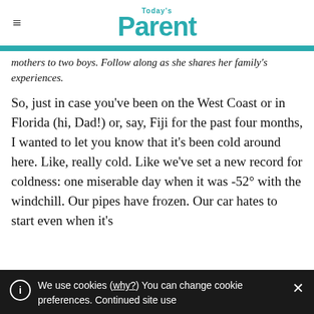Today's Parent
mothers to two boys. Follow along as she shares her family's experiences.
So, just in case you've been on the West Coast or in Florida (hi, Dad!) or, say, Fiji for the past four months, I wanted to let you know that it's been cold around here. Like, really cold. Like we've set a new record for coldness: one miserable day when it was -52° with the windchill. Our pipes have frozen. Our car hates to start even when it's
We use cookies (why?) You can change cookie preferences. Continued site use